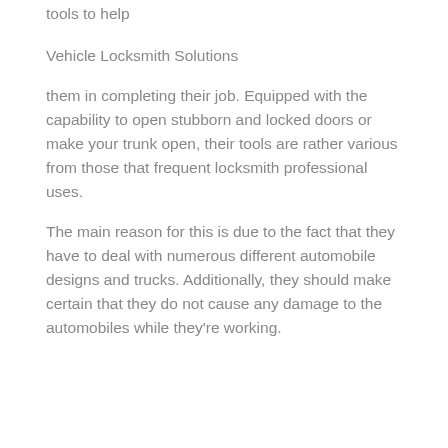tools to help
Vehicle Locksmith Solutions
them in completing their job. Equipped with the capability to open stubborn and locked doors or make your trunk open, their tools are rather various from those that frequent locksmith professional uses.
The main reason for this is due to the fact that they have to deal with numerous different automobile designs and trucks. Additionally, they should make certain that they do not cause any damage to the automobiles while they're working.